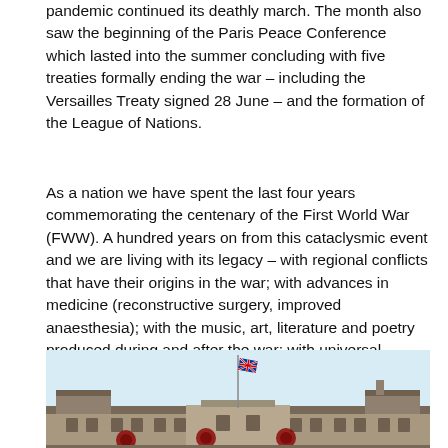pandemic continued its deathly march. The month also saw the beginning of the Paris Peace Conference which lasted into the summer concluding with five treaties formally ending the war – including the Versailles Treaty signed 28 June – and the formation of the League of Nations.
As a nation we have spent the last four years commemorating the centenary of the First World War (FWW). A hundred years on from this cataclysmic event and we are living with its legacy – with regional conflicts that have their origins in the war; with advances in medicine (reconstructive surgery, improved anaesthesia); with the music, art, literature and poetry produced during and after the war; with universal suffrage; and with a landscape shaped by war.
[Figure (photo): Photograph of a grand stone building (likely a war memorial or public building) with a Union Jack flag flying on a central pole. Decorative figures or wreaths are visible along the roofline. The sky is pale blue/white.]